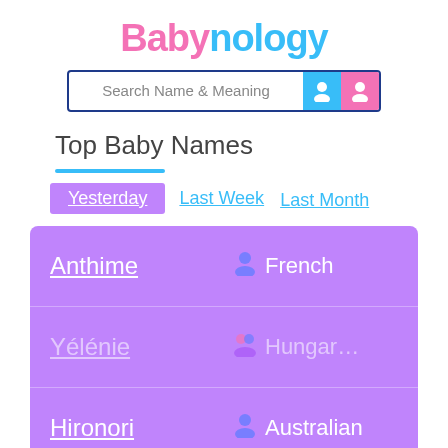Babynology
[Figure (screenshot): Search Name & Meaning search bar with boy and girl icons]
Top Baby Names
Yesterday (active tab)
Last Week
Last Month
| Name | Gender | Origin |
| --- | --- | --- |
| Anthime | boy | French |
| [faded] | both | [faded] |
| Hironori | boy | Australian |
| [faded] | both | [faded] |
| [faded] | both |  |